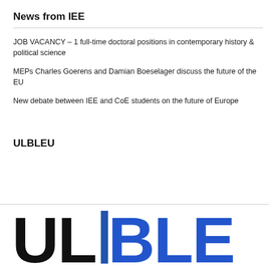News from IEE
JOB VACANCY – 1 full-time doctoral positions in contemporary history & political science
MEPs Charles Goerens and Damian Boeselager discuss the future of the EU
New debate between IEE and CoE students on the future of Europe
ULBLEU
[Figure (logo): ULBLEU logo in large bold text, 'UL' in black and 'BLEU' in blue with a dark blue vertical bar between them]